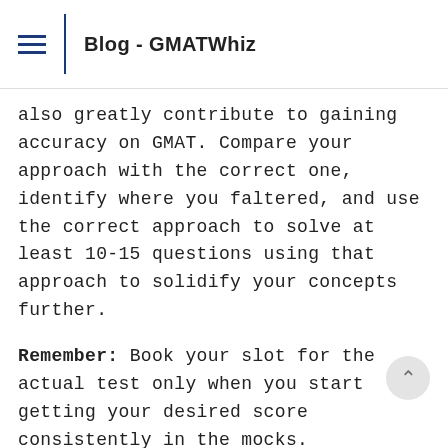Blog - GMATWhiz
also greatly contribute to gaining accuracy on GMAT. Compare your approach with the correct one, identify where you faltered, and use the correct approach to solve at least 10-15 questions using that approach to solidify your concepts further.
Remember: Book your slot for the actual test only when you start getting your desired score consistently in the mocks.
Wondering how the GMAT matrix works? Click here to learn how
Are you retaking the GMAT?
If you are one of those students who scored extremely well in mocks but could not score well on the actual test, we